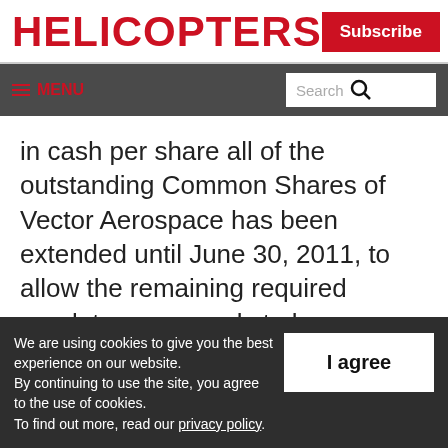HELICOPTERS
Subscribe
≡ MENU  Search
in cash per share all of the outstanding Common Shares of Vector Aerospace has been extended until June 30, 2011, to allow the remaining required regulatory approvals to be obtained.
We are using cookies to give you the best experience on our website. By continuing to use the site, you agree to the use of cookies. To find out more, read our privacy policy.
I agree